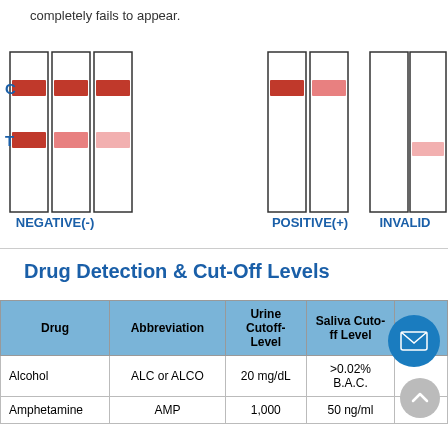completely fails to appear.
[Figure (illustration): Three groups of test strip diagrams showing NEGATIVE(-), POSITIVE(+), and INVALID results. Each group shows strips with C (Control) and T (Test) line positions. NEGATIVE shows dark red lines at both C and T positions across 3 strips. POSITIVE shows a dark C line and faint pink T line across 2 strips. INVALID shows only a faint pink T line with no C line across 2 strips.]
Drug Detection & Cut-Off Levels
| Drug | Abbreviation | Urine Cutoff-Level | Saliva Cutoff Level | Ap... |
| --- | --- | --- | --- | --- |
| Alcohol | ALC or ALCO | 20 mg/dL | >0.02% B.A.C. |  |
| Amphetamine | AMP | 1,000 | 50 ng/ml |  |